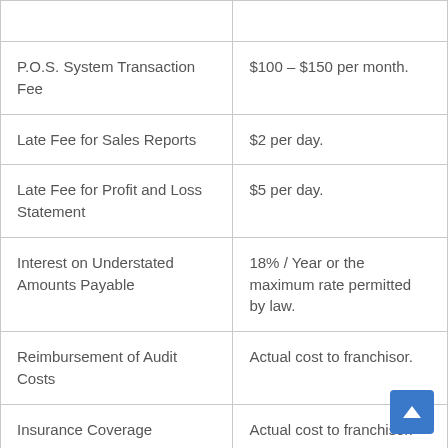| Fee Type | Amount |
| --- | --- |
|  |  |
| P.O.S. System Transaction Fee | $100 – $150 per month. |
| Late Fee for Sales Reports | $2 per day. |
| Late Fee for Profit and Loss Statement | $5 per day. |
| Interest on Understated Amounts Payable | 18% / Year or the maximum rate permitted by law. |
| Reimbursement of Audit Costs | Actual cost to franchisor. |
| Insurance Coverage | Actual cost to franchisor. |
| Late Fee for Certificates of Insurance | $5 per day. |
|  | The lesser of $7,500 or of the sales consideration |